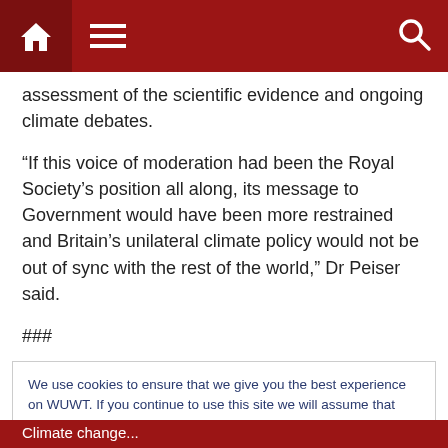Navigation bar with home, menu, and search icons
assessment of the scientific evidence and ongoing climate debates.
“If this voice of moderation had been the Royal Society’s position all along, its message to Government would have been more restrained and Britain’s unilateral climate policy would not be out of sync with the rest of the world,” Dr Peiser said.
###
We use cookies to ensure that we give you the best experience on WUWT. If you continue to use this site we will assume that you are happy with it. This notice is required by recently enacted EU GDPR rules, and since WUWT is a globally read website, we need to keep the bureaucrats off our case! Cookie Policy
Climate change...